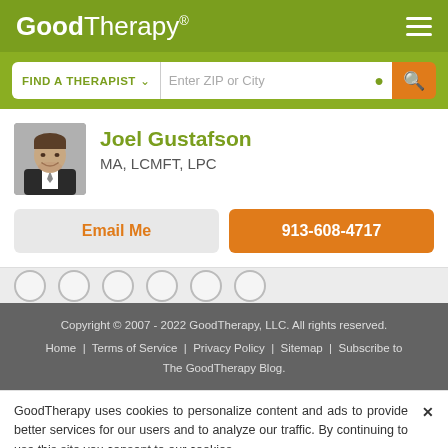GoodTherapy®
FIND A THERAPIST | Enter ZIP or City
Joel Gustafson
MA, LCMFT, LPC
Email Me
913-608-4717
Copyright © 2007 - 2022 GoodTherapy, LLC. All rights reserved.
Home | Terms of Service | Privacy Policy | Sitemap | Subscribe to The GoodTherapy Blog.
GoodTherapy uses cookies to personalize content and ads to provide better services for our users and to analyze our traffic. By continuing to use this site you consent to our cookies.